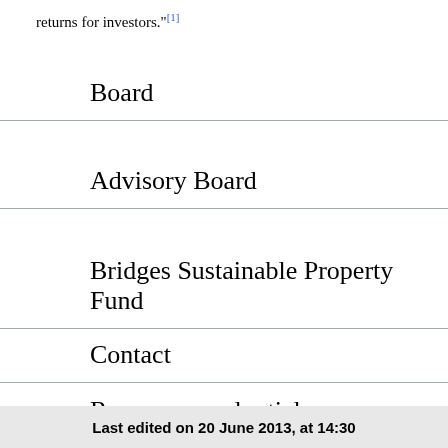returns for investors."[1]
Board
Advisory Board
Bridges Sustainable Property Fund
Contact
Resources and articles
Last edited on 20 June 2013, at 14:30